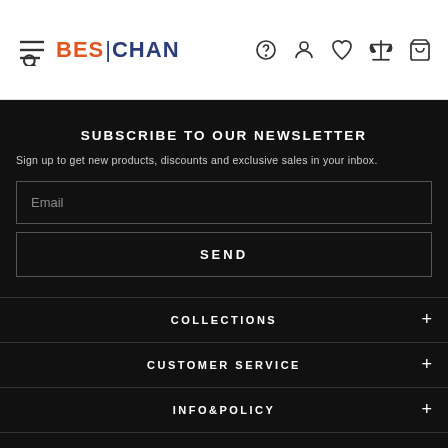[Figure (logo): BES|CHAN logo with hamburger/search icon on left and navigation icons on right (help, user, heart, scale, bag)]
SUBSCRIBE TO OUR NEWSLETTER
Sign up to get new products, discounts and exclusive sales in your inbox.
Email
SEND
COLLECTIONS
CUSTOMER SERVICE
INFO&POLICY